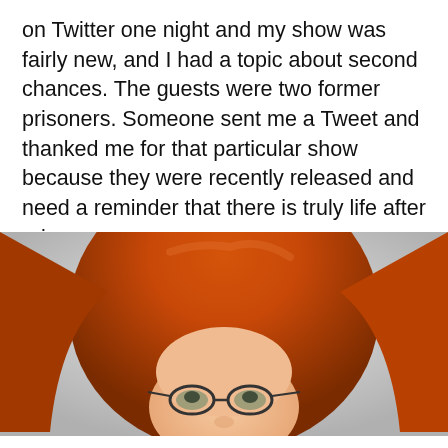on Twitter one night and my show was fairly new, and I had a topic about second chances. The guests were two former prisoners. Someone sent me a Tweet and thanked me for that particular show because they were recently released and need a reminder that there is truly life after prison.
[Figure (photo): A woman with red hair and glasses, partially visible from the nose up, against a light gray background.]
We use cookies on our site to give you the best experience possible. By continuing to browse the site, you agree to this use. For more information on how we use cookies, see our Privacy Policy.
CONTINUE